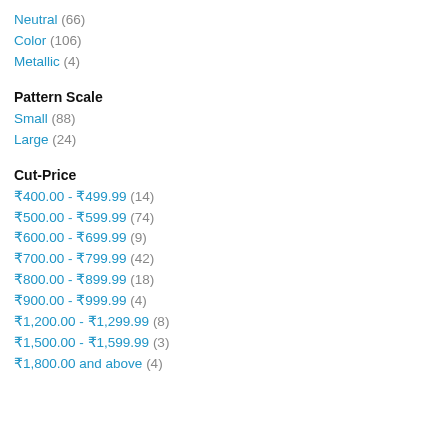Neutral (66)
Color (106)
Metallic (4)
Pattern Scale
Small (88)
Large (24)
Cut-Price
₹400.00 - ₹499.99 (14)
₹500.00 - ₹599.99 (74)
₹600.00 - ₹699.99 (9)
₹700.00 - ₹799.99 (42)
₹800.00 - ₹899.99 (18)
₹900.00 - ₹999.99 (4)
₹1,200.00 - ₹1,299.99 (8)
₹1,500.00 - ₹1,599.99 (3)
₹1,800.00 and above (4)